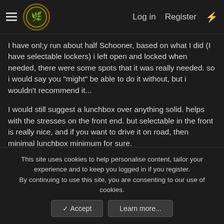Log in  Register
I have onl;y run about half Schooner, based on what I did (I have selectable lockers) i left open and locked when needed, there were some spots that it was really needed. so i would say you "might" be able to do it without, but i wouldn't recommend it...

I would still suggest a lunchbox over anything solid. helps with the stresses on the front end. but selectable in the front is really nice, and if you want to drive it on road, then minimal lunchbox minimum for sure.
4x4Cruiser
Kunker
This site uses cookies to help personalise content, tailor your experience and to keep you logged in if you register.
By continuing to use this site, you are consenting to our use of cookies.